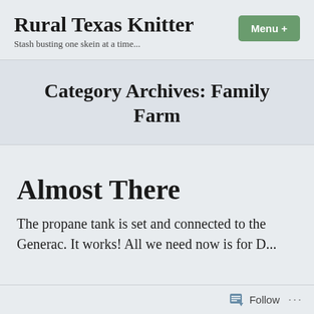Rural Texas Knitter — Stash busting one skein at a time...
Category Archives: Family Farm
Almost There
The propane tank is set and connected to the Generac. It works! All we need now is for D...
Follow ...